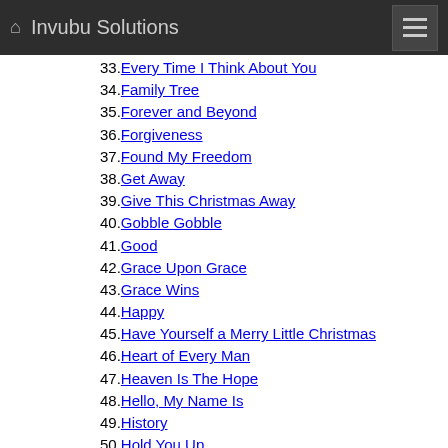Invubu Solutions
33. Every Time I Think About You
34. Family Tree
35. Forever and Beyond
36. Forgiveness
37. Found My Freedom
38. Get Away
39. Give This Christmas Away
40. Gobble Gobble
41. Good
42. Grace Upon Grace
43. Grace Wins
44. Happy
45. Have Yourself a Merry Little Christmas
46. Heart of Every Man
47. Heaven Is The Hope
48. Hello, My Name Is
49. History
50. Hold You Up